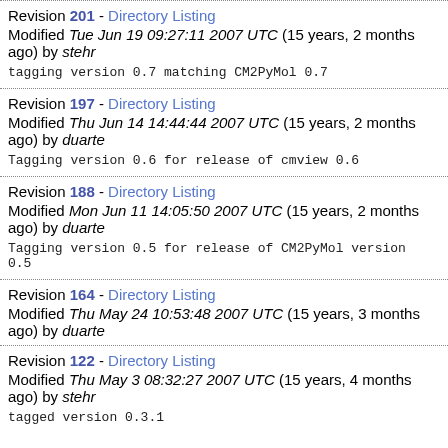Revision 201 - Directory Listing
Modified Tue Jun 19 09:27:11 2007 UTC (15 years, 2 months ago) by stehr
tagging version 0.7 matching CM2PyMol 0.7
Revision 197 - Directory Listing
Modified Thu Jun 14 14:44:44 2007 UTC (15 years, 2 months ago) by duarte
Tagging version 0.6 for release of cmview 0.6
Revision 188 - Directory Listing
Modified Mon Jun 11 14:05:50 2007 UTC (15 years, 2 months ago) by duarte
Tagging version 0.5 for release of CM2PyMol version 0.5
Revision 164 - Directory Listing
Modified Thu May 24 10:53:48 2007 UTC (15 years, 3 months ago) by duarte
Revision 122 - Directory Listing
Modified Thu May 3 08:32:27 2007 UTC (15 years, 4 months ago) by stehr
tagged version 0.3.1